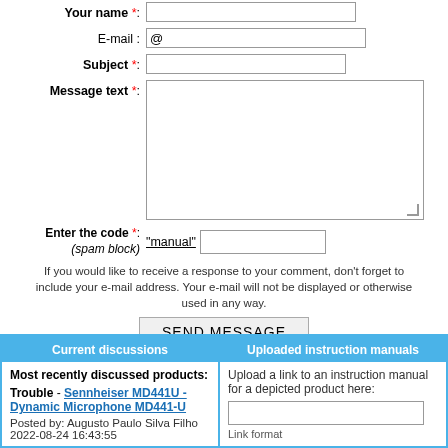Your name *:
E-mail :
Subject *:
Message text *:
Enter the code *: (spam block) "manual"
If you would like to receive a response to your comment, don't forget to include your e-mail address. Your e-mail will not be displayed or otherwise used in any way.
SEND MESSAGE
Current discussions
Most recently discussed products:
Trouble - Sennheiser MD441U - Dynamic Microphone MD441-U
Posted by: Augusto Paulo Silva Filho
2022-08-24 16:43:55
Uploaded instruction manuals
Upload a link to an instruction manual for a depicted product here:
Link format